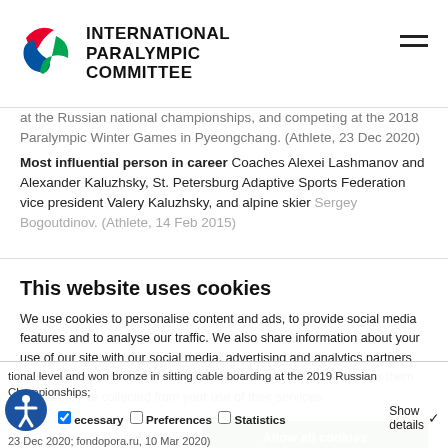INTERNATIONAL PARALYMPIC COMMITTEE
at the Russian national championships, and competing at the 2018 Paralympic Winter Games in Pyeongchang. (Athlete, 23 Dec 2020) Most influential person in career Coaches Alexei Lashmanov and Alexander Kaluzhsky, St. Petersburg Adaptive Sports Federation vice president Valery Kaluzhsky, and alpine skier Sergey Bogoutdinov. (Athlete, 14 Feb 2015)
This website uses cookies
We use cookies to personalise content and ads, to provide social media features and to analyse our traffic. We also share information about your use of our site with our social media, advertising and analytics partners who may combine it with other information that you've provided to them or that they've collected from your use of their services.
Allow all cookies
Allow selection
Use necessary cookies only
tional level and won bronze in sitting cable boarding at the 2019 Russian Championships; 23 Dec 2020; fondopora.ru, 10 Mar 2020)